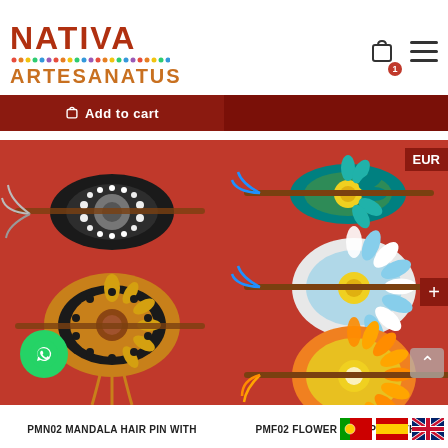[Figure (logo): Nativa Artesanatus logo with colorful dot border and shopping cart icon with badge showing 1, and hamburger menu icon]
Add to cart
[Figure (photo): PMN02 Mandala Hair Pin with beaded mandala designs on red background]
[Figure (photo): PMF02 Flower Hair Pin with three beaded flower hair pins on red background]
PMN02 MANDALA HAIR PIN WITH
PMF02 FLOWER HAIR PIN WITH